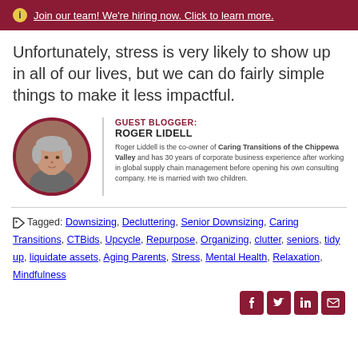Join our team! We're hiring now. Click to learn more.
Unfortunately, stress is very likely to show up in all of our lives, but we can do fairly simple things to make it less impactful.
[Figure (photo): Circular headshot of Roger Lidell, an older man with gray hair wearing a gray shirt, with a dark red/maroon circular border.]
GUEST BLOGGER: ROGER LIDELL
Roger Liddell is the co-owner of Caring Transitions of the Chippewa Valley and has 30 years of corporate business experience after working in global supply chain management before opening his own consulting company. He is married with two children.
Tagged: Downsizing, Decluttering, Senior Downsizing, Caring Transitions, CTBids, Upcycle, Repurpose, Organizing, clutter, seniors, tidy up, liquidate assets, Aging Parents, Stress, Mental Health, Relaxation, Mindfulness